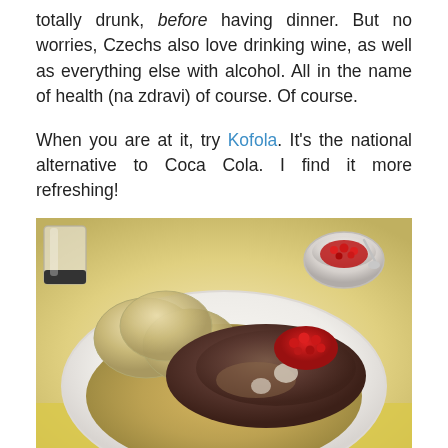totally drunk, before having dinner. But no worries, Czechs also love drinking wine, as well as everything else with alcohol. All in the name of health (na zdravi) of course. Of course.
When you are at it, try Kofola. It's the national alternative to Coca Cola. I find it more refreshing!
[Figure (photo): A white plate with Czech traditional dish: sliced beef roulade with cream sauce and dumplings (knedliky), topped with red cranberries. A small bowl of cranberries and a glass are visible in the background. Yellow tablecloth underneath.]